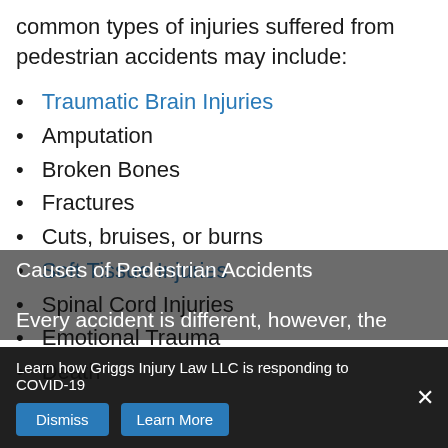common types of injuries suffered from pedestrian accidents may include:
Traumatic Brain Injuries
Amputation
Broken Bones
Fractures
Cuts, bruises, or burns
Soft Tissue Injuries
Spinal Cord Injuries
Emotional Trauma
Death
Causes of Pedestrian Accidents
Every accident is different, however, the
Learn how Griggs Injury Law LLC is responding to COVID-19